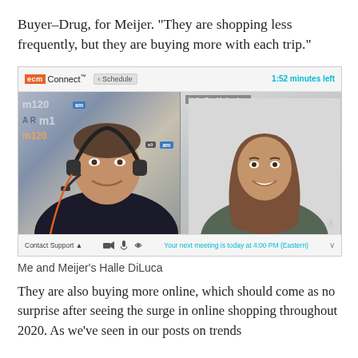Buyer–Drug, for Meijer. “They are shopping less frequently, but they are buying more with each trip.”
[Figure (screenshot): Screenshot of an ecm Connect video call interface showing two participants: a man with a headset on the left (in front of a branded backdrop) and a woman labeled 'Halle D. - Meijer, Inc.' on the right. The top bar shows '1:52 minutes left' and a Schedule button. The bottom bar shows 'Contact Support' and 'Your next meeting is today at 4:00 PM (Eastern)'.]
Me and Meijer’s Halle DiLuca
They are also buying more online, which should come as no surprise after seeing the surge in online shopping throughout 2020. As we’ve seen in our posts on trends